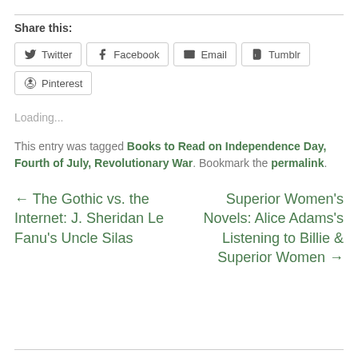Share this:
Twitter  Facebook  Email  Tumblr  Pinterest
Loading...
This entry was tagged Books to Read on Independence Day, Fourth of July, Revolutionary War. Bookmark the permalink.
← The Gothic vs. the Internet: J. Sheridan Le Fanu's Uncle Silas
Superior Women's Novels: Alice Adams's Listening to Billie & Superior Women →